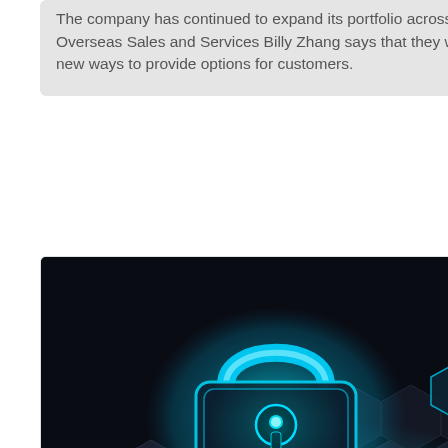The company has continued to expand its portfolio across this market, and VP Overseas Sales and Services Billy Zhang says that they will continue to look for new ways to provide options for customers.
[Figure (photo): Glowing cyan digital padlock on dark hexagonal tile surface, representing cybersecurity and data protection]
DATA PROTECTION
CyberRes brings latest in discovery and data protection to FAS